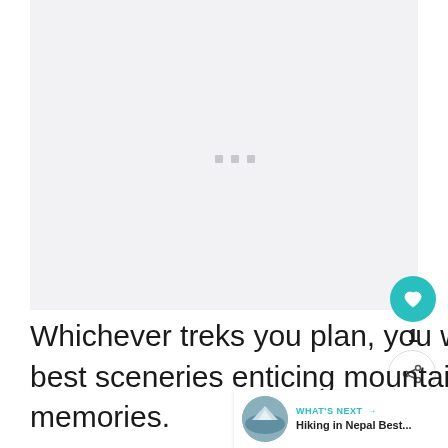[Figure (photo): Large image placeholder with light gray background and three gray dots in the center, indicating an image loading or placeholder state.]
Whichever treks you plan, you will be accompanied by the best sceneries enticing mountain views, and the b... memories.
[Figure (infographic): WHAT'S NEXT -> Hiking in Nepal Best... panel with circular thumbnail of mountain scenery.]